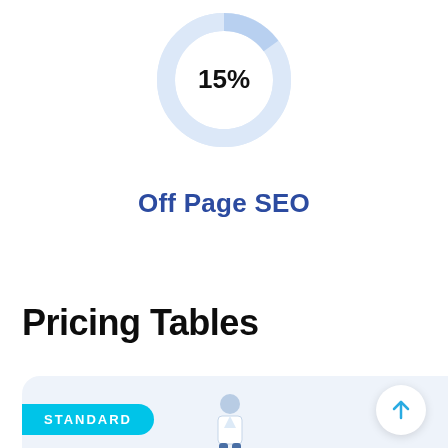[Figure (donut-chart): Off Page SEO]
Off Page SEO
Pricing Tables
[Figure (illustration): A person illustration with a blue rounded card background at the bottom of the page]
STANDARD